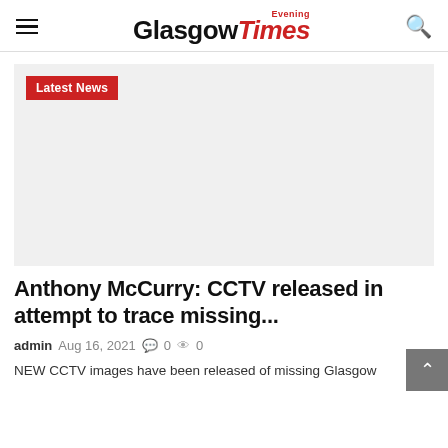Glasgow Evening Times
[Figure (other): Large gray placeholder image area for article photo]
Latest News
Anthony McCurry: CCTV released in attempt to trace missing...
admin  Aug 16, 2021  0  0
NEW CCTV images have been released of missing Glasgow